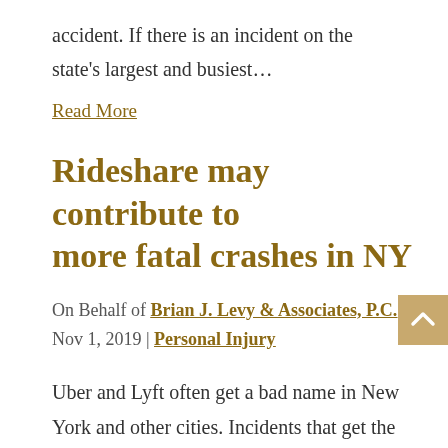accident. If there is an incident on the state's largest and busiest…
Read More
Rideshare may contribute to more fatal crashes in NY
On Behalf of Brian J. Levy & Associates, P.C. | Nov 1, 2019 | Personal Injury
Uber and Lyft often get a bad name in New York and other cities. Incidents that get the media's attention range from drivers assaulting women to drivers not always